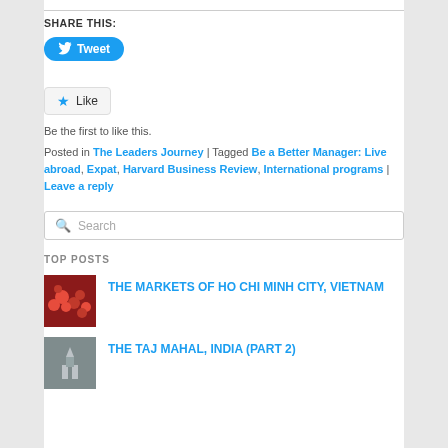SHARE THIS:
Tweet
★ Like
Be the first to like this.
Posted in The Leaders Journey | Tagged Be a Better Manager: Live abroad, Expat, Harvard Business Review, International programs | Leave a reply
Search
TOP POSTS
THE MARKETS OF HO CHI MINH CITY, VIETNAM
THE TAJ MAHAL, INDIA (part 2)